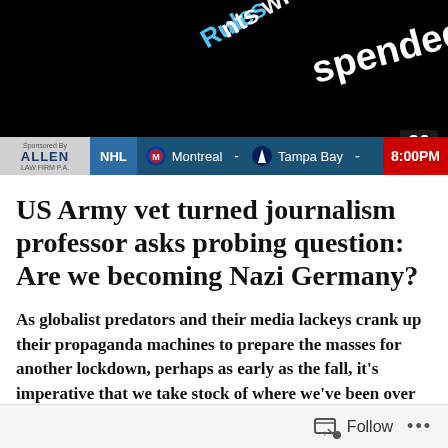[Figure (screenshot): TV news screenshot showing 'Suspended' and 'Rules' overlay text on dark background, with NHL ticker showing Montreal vs Tampa Bay at 8:00PM, and channel 20 WOJB badge]
US Army vet turned journalism professor asks probing question: Are we becoming Nazi Germany?
As globalist predators and their media lackeys crank up their propaganda machines to prepare the masses for another lockdown, perhaps as early as the fall, it’s imperative that we take stock of where we’ve been over the last 18 months and where we are heading if we